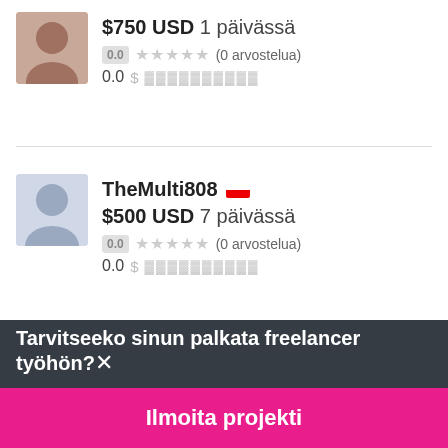$750 USD 1 päivässä
0.0 ★★★★★ (0 arvostelua)
0.0 $
TheMulti808
$500 USD 7 päivässä
0.0 ★★★★★ (0 arvostelua)
0.0 $
Tarvitseeko sinun palkata freelancer työhön?✕
Ilmoita projekti